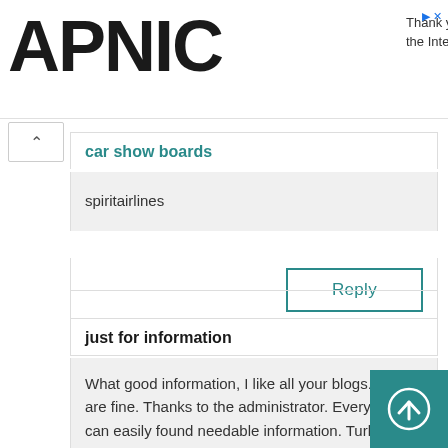APNIC — Thank you for helping us measure the Internet.
car show boards
spiritairlines
Reply
just for information
What good information, I like all your blogs. You are fine. Thanks to the administrator. Every body can easily found needable information. Turkish Airlines Czech Republic office is an overall transporter mentioning a far reaching association of flights any place on the world. It is also the world's third-most prominent carrier